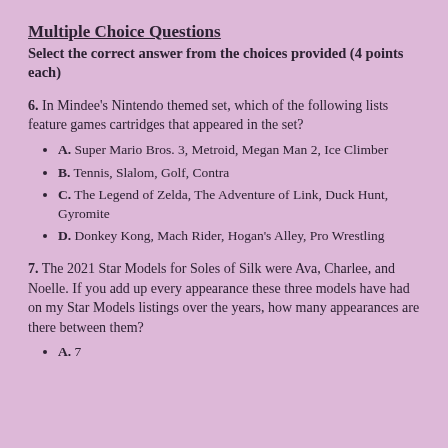Multiple Choice Questions
Select the correct answer from the choices provided (4 points each)
6. In Mindee's Nintendo themed set, which of the following lists feature games cartridges that appeared in the set?
A. Super Mario Bros. 3, Metroid, Megan Man 2, Ice Climber
B. Tennis, Slalom, Golf, Contra
C. The Legend of Zelda, The Adventure of Link, Duck Hunt, Gyromite
D. Donkey Kong, Mach Rider, Hogan's Alley, Pro Wrestling
7. The 2021 Star Models for Soles of Silk were Ava, Charlee, and Noelle. If you add up every appearance these three models have had on my Star Models listings over the years, how many appearances are there between them?
A. 7